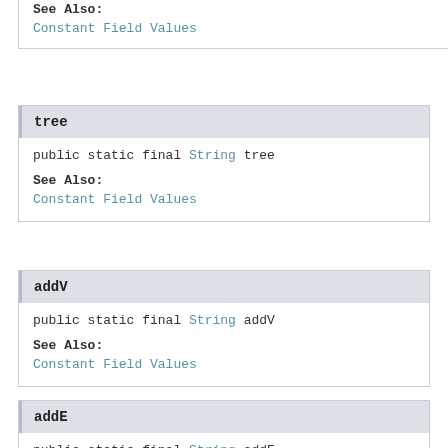See Also:
Constant Field Values
tree
public static final String tree
See Also:
Constant Field Values
addV
public static final String addV
See Also:
Constant Field Values
addE
public static final String addE